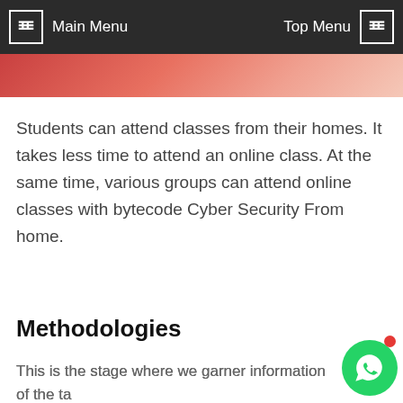Main Menu | Top Menu
[Figure (photo): Partial hero image strip showing reddish/orange toned photo of a person]
Students can attend classes from their homes. It takes less time to attend an online class. At the same time, various groups can attend online classes with bytecode Cyber Security From home.
Book Your Free Demo Class
Methodologies
This is the stage where we garner information of the target organization which consists of:-